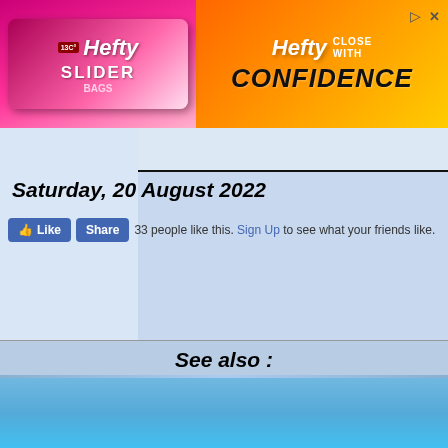[Figure (illustration): Hefty Slider Bags advertisement banner with pink/magenta and yellow/orange gradient background. Shows Hefty brand logo, Slider Bags product image, and text 'Hefty CLOSE WITH CONFIDENCE']
Saturday, 20 August 2022
[Figure (infographic): Facebook Like and Share buttons with text '33 people like this. Sign Up to see what your friends like.']
See also :
© SATTVINFO.NET  Frequency of satellite TV, satellite TV channels, satellite TV set without a problem to watch satellite TV can help the site. Your reliable pilot in the fascinating world of television! All Rights reserved 2011 - 2022.